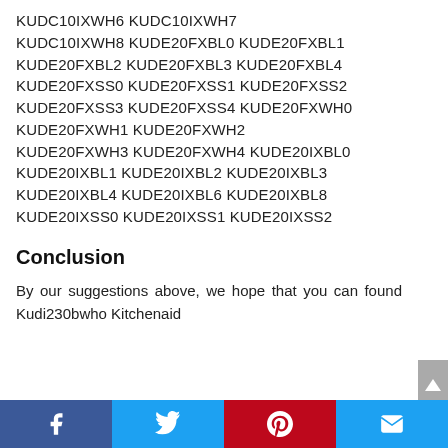KUDC10IXWH6 KUDC10IXWH7 KUDC10IXWH8 KUDE20FXBL0 KUDE20FXBL1 KUDE20FXBL2 KUDE20FXBL3 KUDE20FXBL4 KUDE20FXSS0 KUDE20FXSS1 KUDE20FXSS2 KUDE20FXSS3 KUDE20FXSS4 KUDE20FXWH0 KUDE20FXWH1 KUDE20FXWH2 KUDE20FXWH3 KUDE20FXWH4 KUDE20IXBL0 KUDE20IXBL1 KUDE20IXBL2 KUDE20IXBL3 KUDE20IXBL4 KUDE20IXBL6 KUDE20IXBL8 KUDE20IXSS0 KUDE20IXSS1 KUDE20IXSS2
Conclusion
By our suggestions above, we hope that you can found Kudi230bwho Kitchenaid